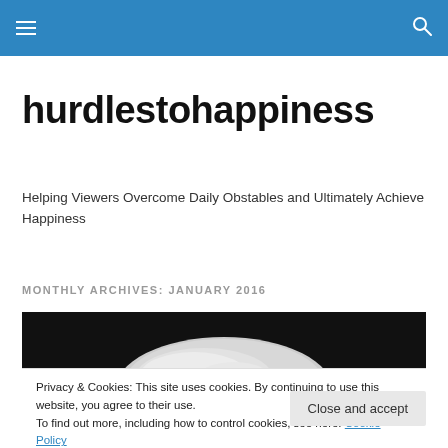hurdlestohappiness — navigation bar with menu and search icons
hurdlestohappiness
Helping Viewers Overcome Daily Obstables and Ultimately Achieve Happiness
MONTHLY ARCHIVES: JANUARY 2016
[Figure (photo): Black and white photo of a rock or comet against a dark background]
Privacy & Cookies: This site uses cookies. By continuing to use this website, you agree to their use.
To find out more, including how to control cookies, see here: Cookie Policy